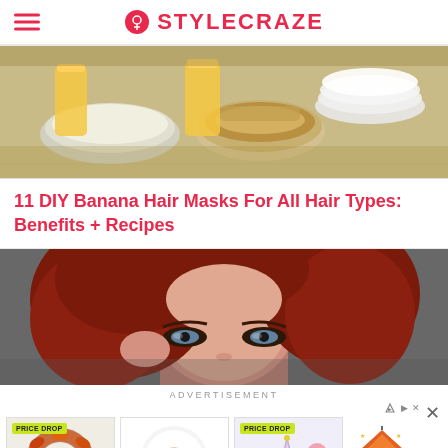STYLECRAZE
[Figure (photo): Overhead view of bowls with food ingredients including oats/grains, and glasses of juice/beverages on a table — ingredients for hair masks]
11 DIY Banana Hair Masks For All Hair Types: Benefits + Recipes
[Figure (photo): Close-up portrait of a woman with deep red/auburn wavy hair holding her hair, eyes looking at camera with smoky eye makeup, gray background]
ADVERTISEMENT
[Figure (photo): Advertisement grid: autumn wreath with PRICE DROP badge, rainbow art print on white plate, holiday/toy items with PRICE DROP badge, and Tiny Land brand logo]